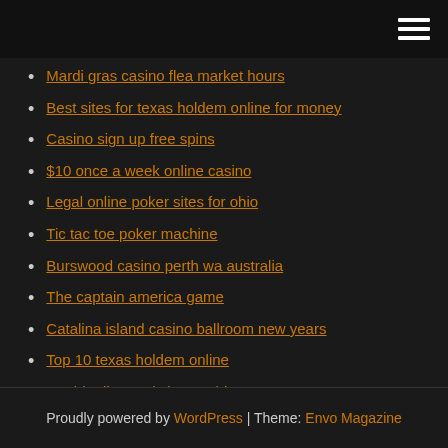[hamburger menu icon]
Mardi gras casino flea market hours
Best sites for texas holdem online for money
Casino sign up free spins
$10 once a week online casino
Legal online poker sites for ohio
Tic tac toe poker machine
Burswood casino perth wa australia
The captain america game
Catalina island casino ballroom new years
Top 10 texas holdem online
Double diamond slot machine app
Proudly powered by WordPress | Theme: Envo Magazine